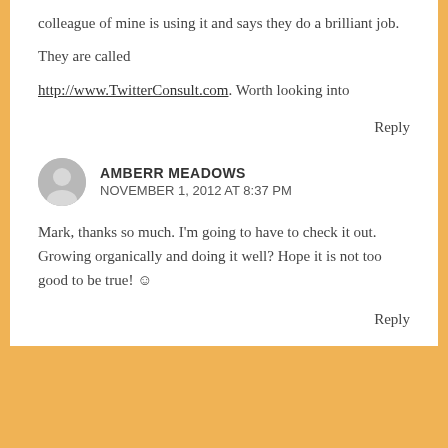colleague of mine is using it and says they do a brilliant job.
They are called
http://www.TwitterConsult.com. Worth looking into
Reply
AMBERR MEADOWS
NOVEMBER 1, 2012 AT 8:37 PM
Mark, thanks so much. I'm going to have to check it out. Growing organically and doing it well? Hope it is not too good to be true! ☺
Reply